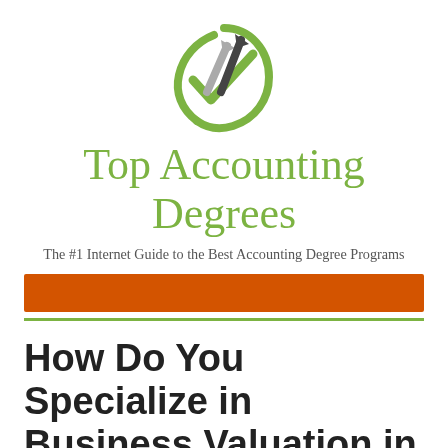[Figure (logo): Top Accounting Degrees logo: green circular checkmark with gray and dark upward arrows]
Top Accounting Degrees
The #1 Internet Guide to the Best Accounting Degree Programs
[Figure (other): Orange horizontal banner bar]
How Do You Specialize in Business Valuation in